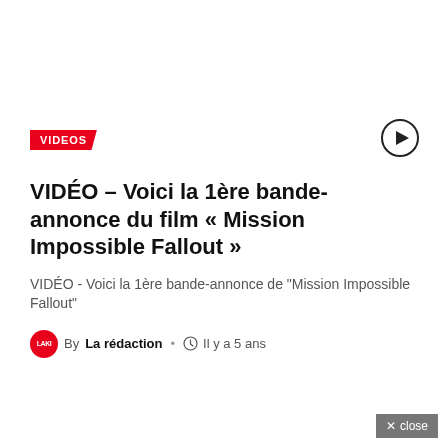VIDEOS
VIDÉO – Voici la 1ère bande-annonce du film « Mission Impossible Fallout »
VIDÉO - Voici la 1ère bande-annonce de "Mission Impossible Fallout"
By La rédaction · Il y a 5 ans